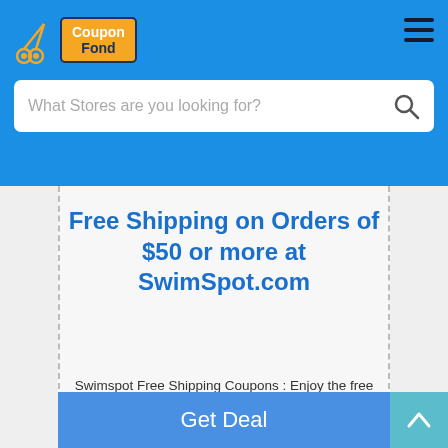CouponFond header with logo and hamburger menu
What Stores are you looking for?
Free Shipping on Orders of $50 or more at SwimSpot.com
Swimspot Free Shipping Coupons : Enjoy the free shipping or free delivery and free exchange only for USA users on order $50 or more at swimspot.com ! Browse now the vast range of designer swimwear and...
Get Deal